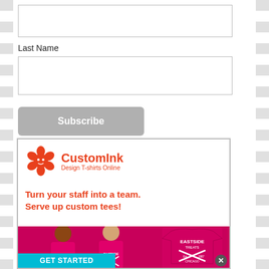[Figure (screenshot): An empty text input field (form field for first or previous entry)]
Last Name
[Figure (screenshot): An empty text input field for Last Name]
[Figure (screenshot): Subscribe button (gray rounded rectangle with white bold text)]
[Figure (infographic): CustomInk advertisement banner: logo with orange octopus and text 'CustomInk Design T-shirts Online', tagline 'Turn your staff into a team. Serve up custom tees!', photo of two smiling women in pink Eastside Treats branded t-shirts with a t-shirt product image, GET STARTED button in blue]